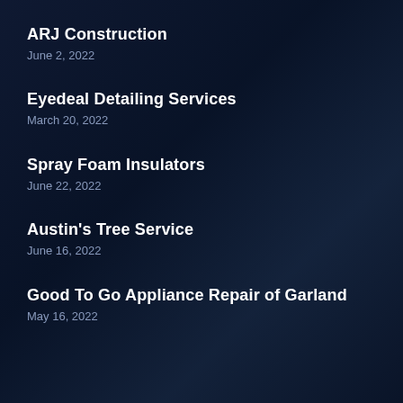ARJ Construction
June 2, 2022
Eyedeal Detailing Services
March 20, 2022
Spray Foam Insulators
June 22, 2022
Austin's Tree Service
June 16, 2022
Good To Go Appliance Repair of Garland
May 16, 2022